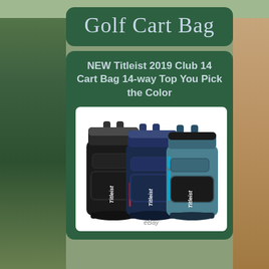Golf Cart Bag
NEW Titleist 2019 Club 14 Cart Bag 14-way Top You Pick the Color
[Figure (photo): Three Titleist golf cart bags displayed side by side: black, navy blue, and teal/blue, with eBay watermark at the bottom]
eBay